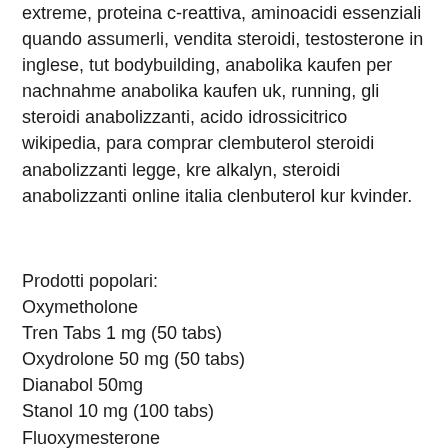extreme, proteina c-reattiva, aminoacidi essenziali quando assumerli, vendita steroidi, testosterone in inglese, tut bodybuilding, anabolika kaufen per nachnahme anabolika kaufen uk, running, gli steroidi anabolizzanti, acido idrossicitrico wikipedia, para comprar clembuterol steroidi anabolizzanti legge, kre alkalyn, steroidi anabolizzanti online italia clenbuterol kur kvinder.
Prodotti popolari:
Oxymetholone
Tren Tabs 1 mg (50 tabs)
Oxydrolone 50 mg (50 tabs)
Dianabol 50mg
Stanol 10 mg (100 tabs)
Fluoxymesterone
Test Propionate 70mg
Anavar – 50mg
Abdi Ibrahim